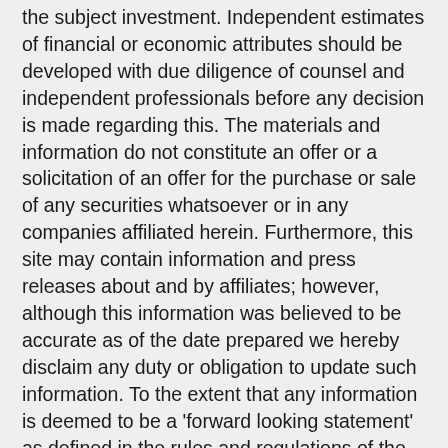the subject investment. Independent estimates of financial or economic attributes should be developed with due diligence of counsel and independent professionals before any decision is made regarding this. The materials and information do not constitute an offer or a solicitation of an offer for the purchase or sale of any securities whatsoever or in any companies affiliated herein. Furthermore, this site may contain information and press releases about and by affiliates; however, although this information was believed to be accurate as of the date prepared we hereby disclaim any duty or obligation to update such information. To the extent that any information is deemed to be a 'forward looking statement' as defined in the rules and regulations of the Securities Act of 1933, as amended, such information is intended to fit within the 'safe harbor' for forward looking information and is subject to material risk factors which may or may not be disclosed herein. We do not intend to make any investment representations about or any companies affiliated with us, or of opportunities and should not be viewed as such. Buyers/Borrowers must perform their own independent due diligence. References to square footage or age are approximate. This summary